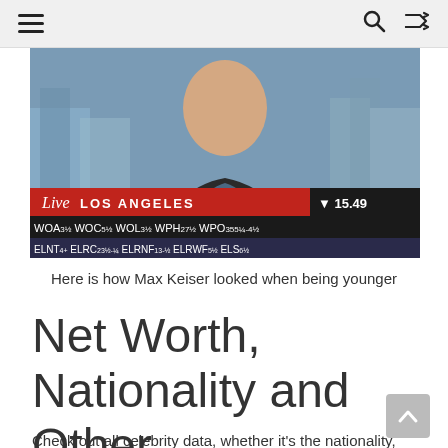☰  🔍  ⇌
[Figure (screenshot): TV screenshot showing a man in a leather jacket on a news broadcast. Lower-third graphics show 'Live', 'LOS ANGELES', stock ticker '15.49', and ticker symbols: WOA, WOC, WOL, WPH, WPO, ELNT, ELRC, ELRNF, ELRWF, ELS.]
Here is how Max Keiser looked when being younger
Net Worth, Nationality and Other Facts
Check out all celebrity data, whether it's the nationality,